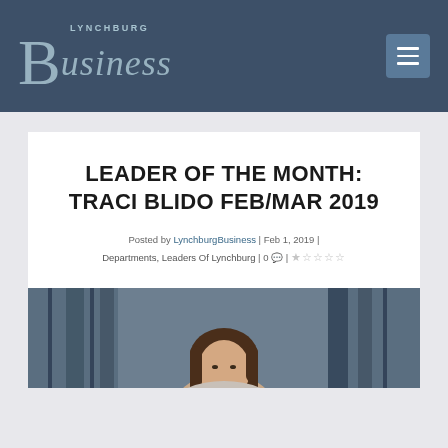[Figure (logo): Lynchburg Business magazine logo in muted teal/blue on dark navy header bar]
LEADER OF THE MONTH: TRACI BLIDO FEB/MAR 2019
Posted by LynchburgBusiness | Feb 1, 2019 | Departments, Leaders Of Lynchburg | 0 💬 |  ☆☆☆☆☆
[Figure (photo): Portrait photo of Traci Blido, a woman with brown hair, in a professional setting with blue panels in background]